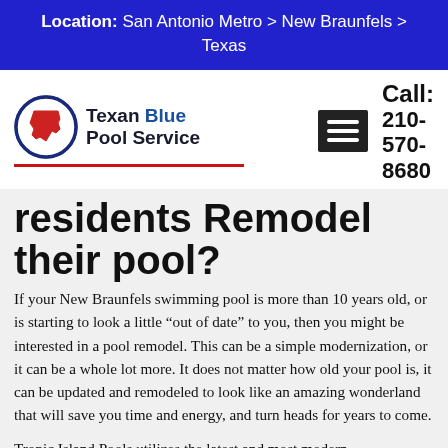Location: San Antonio Metro > New Braunfels > Texas
[Figure (logo): Texan Blue Pool Service logo with Texas state outline in a circle and company name]
Call: 210-570-8680
residents Remodel their pool?
If your New Braunfels swimming pool is more than 10 years old, or is starting to look a little “out of date” to you, then you might be interested in a pool remodel. This can be a simple modernization, or it can be a whole lot more. It does not matter how old your pool is, it can be updated and remodeled to look like an amazing wonderland that will save you time and energy, and turn heads for years to come.
Tropic Island Pools utilizes the latest and most modern